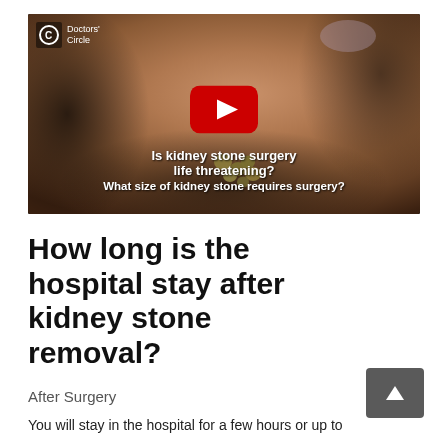[Figure (screenshot): YouTube video thumbnail from Doctors' Circle channel showing a hand holding several kidney stones. Video caption reads 'Is kidney stone surgery life threatening? What size of kidney stone requires surgery?']
How long is the hospital stay after kidney stone removal?
After Surgery
You will stay in the hospital for a few hours or up to